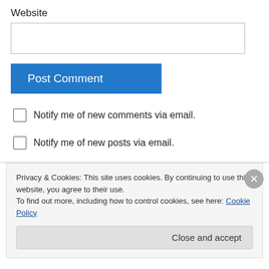Website
Post Comment
Notify me of new comments via email.
Notify me of new posts via email.
Archives
Privacy & Cookies: This site uses cookies. By continuing to use this website, you agree to their use.
To find out more, including how to control cookies, see here: Cookie Policy
Close and accept